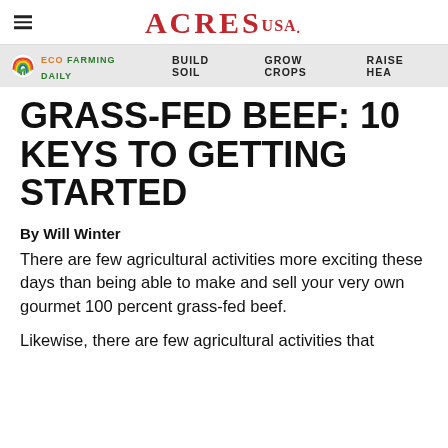ACRES USA
ECO FARMING DAILY  BUILD SOIL  GROW CROPS  RAISE HEA
GRASS-FED BEEF: 10 KEYS TO GETTING STARTED
By Will Winter
There are few agricultural activities more exciting these days than being able to make and sell your very own gourmet 100 percent grass-fed beef.
Likewise, there are few agricultural activities that